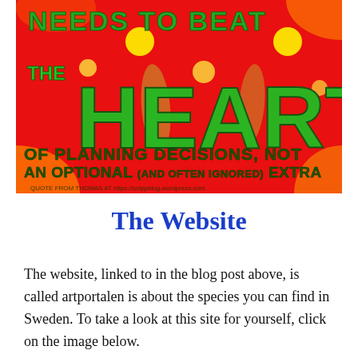[Figure (illustration): Colorful poster with red background and large green text reading 'NEEDS TO BEAT THE HEART OF PLANNING DECISIONS, NOT AN OPTIONAL (AND OFTEN OPTIONAL) EXTRA'. Quote from Thomas at a blog URL at the bottom.]
The Website
The website, linked to in the blog post above, is called artportalen is about the species you can find in Sweden. To take a look at this site for yourself, click on the image below.